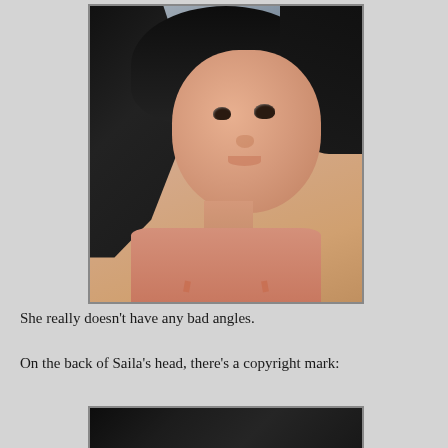[Figure (photo): Close-up photo of an American Girl doll with black hair pulled to one side, tan skin, dark brown eyes, slight smile, wearing a salmon/peach sleeveless top. Gray background.]
She really doesn't have any bad angles.
On the back of Saila's head, there's a copyright mark:
[Figure (photo): Partial photo showing the back of the doll's dark hair with copyright mark text, dark background.]